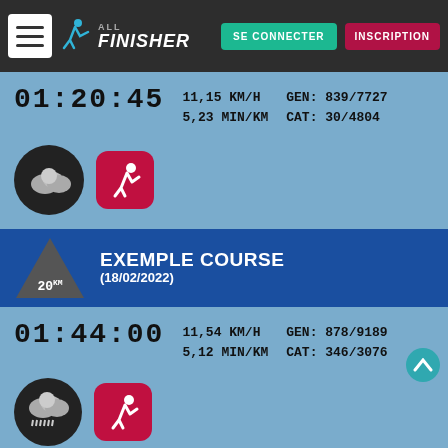ALL FINISHER — SE CONNECTER | INSCRIPTION
01:20:45 | 11,15 KM/H | 5,23 MIN/KM | GEN: 839/7727 | CAT: 30/4804
[Figure (infographic): Weather icon (cloudy) and running app icon]
EXEMPLE COURSE (18/02/2022) — 20km
01:44:00 | 11,54 KM/H | 5,12 MIN/KM | GEN: 878/9189 | CAT: 346/3076
[Figure (infographic): Weather icon (rain/snow) and running app icon]
Tally — Fast credit card payoff — Download Now